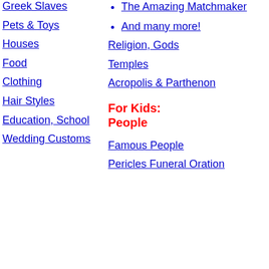Greek Slaves
Pets & Toys
Houses
Food
Clothing
Hair Styles
Education, School
Wedding Customs
The Amazing Matchmaker
And many more!
Religion, Gods
Temples
Acropolis & Parthenon
For Kids: People
Famous People
Pericles Funeral Oration